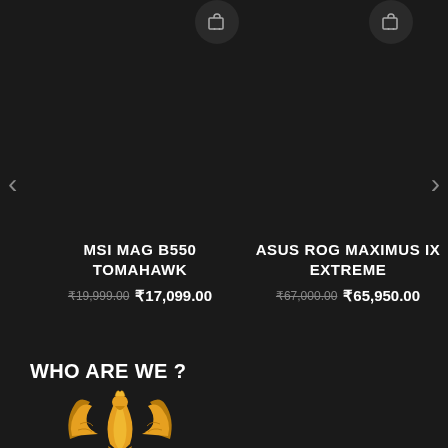[Figure (screenshot): Cart icon button on left side top]
[Figure (screenshot): Cart icon button on right side top]
<
>
MSI MAG B550 TOMAHAWK ₹19,999.00 ₹17,099.00
ASUS ROG MAXIMUS IX EXTREME ₹67,000.00 ₹65,950.00
WHO ARE WE ?
[Figure (logo): Phoenix/eagle golden logo emblem at bottom left]